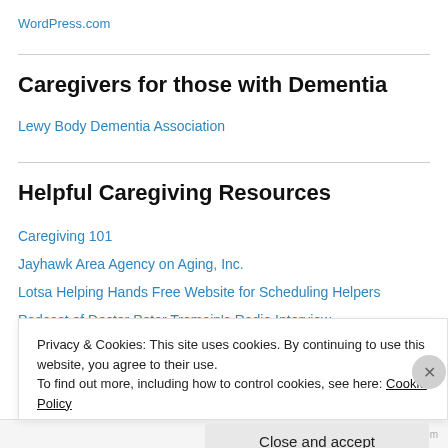WordPress.com
Caregivers for those with Dementia
Lewy Body Dementia Association
Helpful Caregiving Resources
Caregiving 101
Jayhawk Area Agency on Aging, Inc.
Lotsa Helping Hands Free Website for Scheduling Helpers
Podcast of Doctor Peter Tremain's Radio Interview
Privacy & Cookies: This site uses cookies. By continuing to use this website, you agree to their use. To find out more, including how to control cookies, see here: Cookie Policy
Close and accept